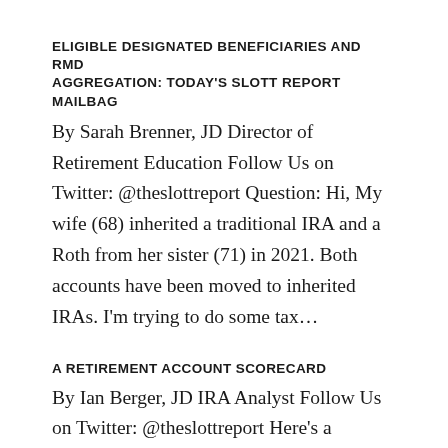ELIGIBLE DESIGNATED BENEFICIARIES AND RMD AGGREGATION: TODAY'S SLOTT REPORT MAILBAG
By Sarah Brenner, JD Director of Retirement Education Follow Us on Twitter: @theslottreport Question: Hi, My wife (68) inherited a traditional IRA and a Roth from her sister (71) in 2021. Both accounts have been moved to inherited IRAs. I'm trying to do some tax...
A RETIREMENT ACCOUNT SCORECARD
By Ian Berger, JD IRA Analyst Follow Us on Twitter: @theslottreport Here's a